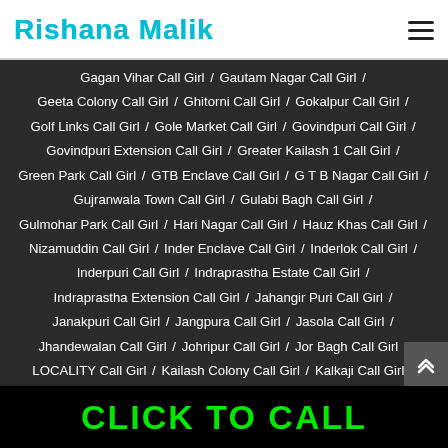Rishana Malik
Gagan Vihar Call Girl / Gautam Nagar Call Girl / Geeta Colony Call Girl / Ghitorni Call Girl / Gokalpur Call Girl / Golf Links Call Girl / Gole Market Call Girl / Govindpuri Call Girl / Govindpuri Extension Call Girl / Greater Kailash 1 Call Girl / Green Park Call Girl / GTB Enclave Call Girl / G T B Nagar Call Girl / Gujranwala Town Call Girl / Gulabi Bagh Call Girl / Gulmohar Park Call Girl / Hari Nagar Call Girl / Hauz Khas Call Girl / Nizamuddin Call Girl / Inder Enclave Call Girl / Inderlok Call Girl / Inderpuri Call Girl / Indraprastha Estate Call Girl / Indraprastha Extension Call Girl / Jahangir Puri Call Girl / Janakpuri Call Girl / Jangpura Call Girl / Jasola Call Girl / Jhandewalan Call Girl / Johripur Call Girl / Jor Bagh Call Girl / LOCALITY Call Girl / Kailash Colony Call Girl / Kalkaji Call Girl / Kamla Nagar Call Girl / Kanashera Call Girl / Karkardooma Call Girl
CLICK TO CALL